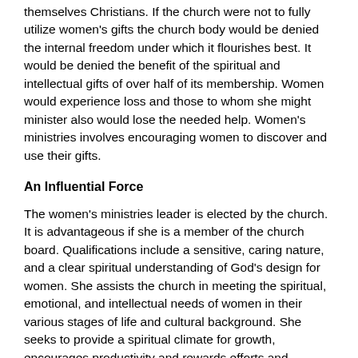themselves Christians. If the church were not to fully utilize women's gifts the church body would be denied the internal freedom under which it flourishes best. It would be denied the benefit of the spiritual and intellectual gifts of over half of its membership. Women would experience loss and those to whom she might minister also would lose the needed help. Women's ministries involves encouraging women to discover and use their gifts.
An Influential Force
The women's ministries leader is elected by the church. It is advantageous if she is a member of the church board. Qualifications include a sensitive, caring nature, and a clear spiritual understanding of God's design for women. She assists the church in meeting the spiritual, emotional, and intellectual needs of women in their various stages of life and cultural background. She seeks to provide a spiritual climate for growth, encourages productivity and rewards efforts and initiatives.
Women are an influential force in the church. They cradle the future and shape the present with their attitudes and actions toward themselves, family, friends, fellow church members and neighbors.